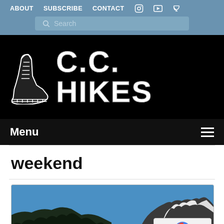ABOUT  SUBSCRIBE  CONTACT
C.C. HIKES
Menu
weekend
[Figure (photo): Mountain landscape with blue sky, snow-capped rocky peaks and dark forested slopes at the bottom. Part of a C.C. Hikes blog post card.]